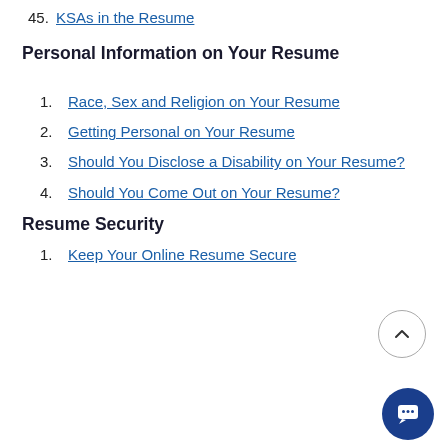45. KSAs in the Resume
Personal Information on Your Resume
1. Race, Sex and Religion on Your Resume
2. Getting Personal on Your Resume
3. Should You Disclose a Disability on Your Resume?
4. Should You Come Out on Your Resume?
Resume Security
1. Keep Your Online Resume Secure